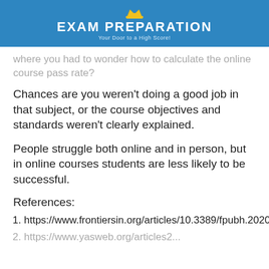[Figure (logo): Exam Preparation logo with golden crown icon, white bold text 'EXAM PREPARATION' and subtitle 'Your Door to a High Score!' on blue background]
where you had to wonder how to calculate the online course pass rate?
Chances are you weren't doing a good job in that subject, or the course objectives and standards weren't clearly explained.
People struggle both online and in person, but in online courses students are less likely to be successful.
References:
https://www.frontiersin.org/articles/10.3389/fpubh.2020.576227/full
https://www.yasweb.org/articles2...